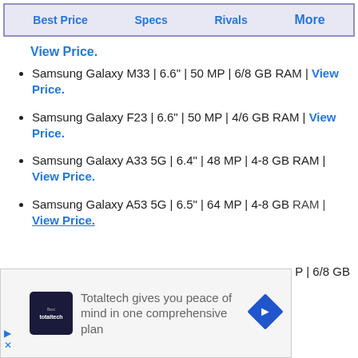Best Price | Specs | Rivals | More
View Price.
Samsung Galaxy M33 | 6.6" | 50 MP | 6/8 GB RAM | View Price.
Samsung Galaxy F23 | 6.6" | 50 MP | 4/6 GB RAM | View Price.
Samsung Galaxy A33 5G | 6.4" | 48 MP | 4-8 GB RAM | View Price.
Samsung Galaxy A53 5G | 6.5" | 64 MP | 4-8 GB RAM | View Price.
[Figure (infographic): Advertisement overlay: Totaltech gives you peace of mind in one comprehensive plan, with Best Buy logo and navigation arrow icon. Small ad controls (forward/close arrows) at lower left.]